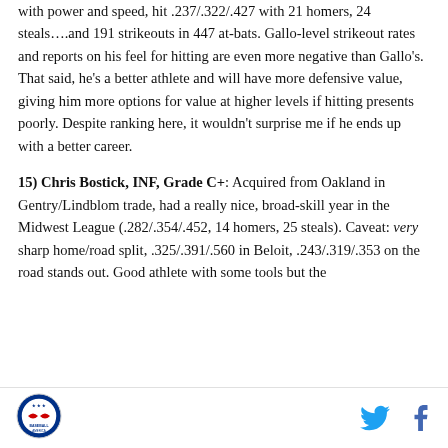with power and speed, hit .237/.322/.427 with 21 homers, 24 steals….and 191 strikeouts in 447 at-bats. Gallo-level strikeout rates and reports on his feel for hitting are even more negative than Gallo's. That said, he's a better athlete and will have more defensive value, giving him more options for value at higher levels if hitting presents poorly. Despite ranking here, it wouldn't surprise me if he ends up with a better career.
15) Chris Bostick, INF, Grade C+: Acquired from Oakland in Gentry/Lindblom trade, had a really nice, broad-skill year in the Midwest League (.282/.354/.452, 14 homers, 25 steals). Caveat: very sharp home/road split, .325/.391/.560 in Beloit, .243/.319/.353 on the road stands out. Good athlete with some tools but the
[Figure (logo): Circular sports league logo in bottom left]